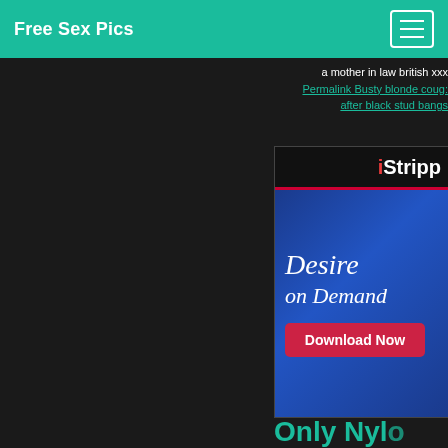Free Sex Pics
a mother in law british xxx
Permalink Busty blonde coug: after black stud bangs
[Figure (screenshot): iStripper advertisement banner showing 'Desire on Demand' with a Download Now button on a blue gradient background, with Windows 10 taskbar visible below]
Only Nyl